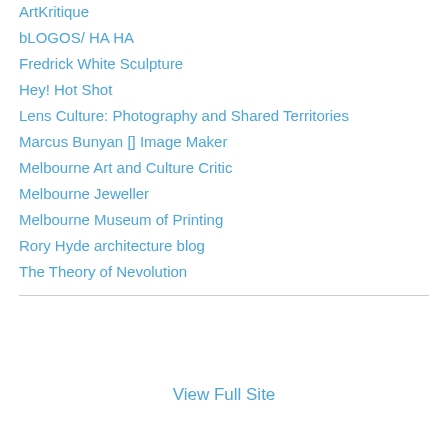ArtKritique
bLOGOS/ HA HA
Fredrick White Sculpture
Hey! Hot Shot
Lens Culture: Photography and Shared Territories
Marcus Bunyan [] Image Maker
Melbourne Art and Culture Critic
Melbourne Jeweller
Melbourne Museum of Printing
Rory Hyde architecture blog
The Theory of Nevolution
View Full Site